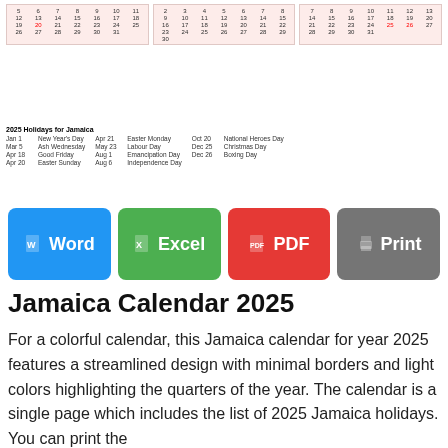[Figure (screenshot): Mini calendar previews for 2025 Jamaica calendar showing three months of calendar grids with light pink/red background, with holiday dates highlighted in red]
2025 Holidays for Jamaica
Jan 1 New Year's Day
Mar 5 Ash Wednesday
Apr 18 Good Friday
Apr 20 Easter Sunday
Apr 21 Easter Monday
May 23 Labour Day
Aug 1 Emancipation Day
Aug 6 Independence Day
Oct 20 National Heroes Day
Dec 25 Christmas Day
Dec 26 Boxing Day
[Figure (screenshot): Four buttons: Word (blue), Excel (green), PDF (red), Print (gray)]
Jamaica Calendar 2025
For a colorful calendar, this Jamaica calendar for year 2025 features a streamlined design with minimal borders and light colors highlighting the quarters of the year. The calendar is a single page which includes the list of 2025 Jamaica holidays. You can print the